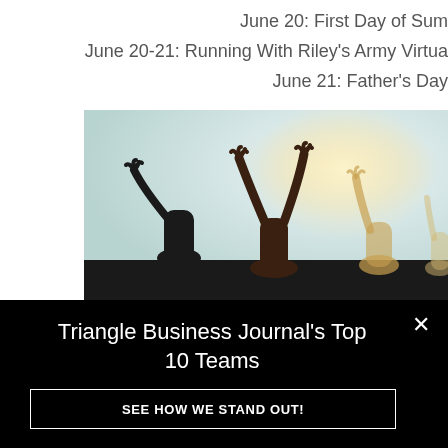June 20: First Day of Sum
June 20-21: Running With Riley's Army Virtua
June 21: Father's Day
[Figure (photo): Silhouettes of people with arms raised against a bright backlit sky, celebratory mood]
Triangle Business Journal's Top 10 Teams
SEE HOW WE STAND OUT!